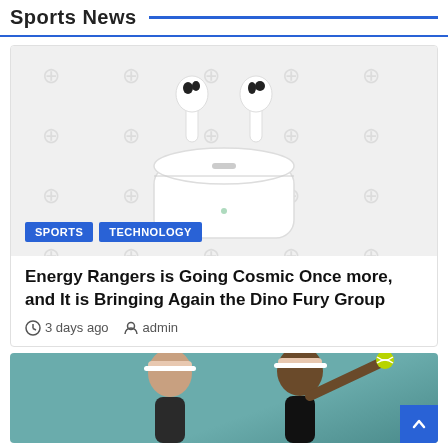Sports News
[Figure (photo): Apple AirPods (3rd generation) in white charging case, shown on a watermarked background with sports icons. Badges overlay reading SPORTS and TECHNOLOGY.]
Energy Rangers is Going Cosmic Once more, and It is Bringing Again the Dino Fury Group
3 days ago   admin
[Figure (photo): Two tennis players wearing visors, one tossing a tennis ball in the air, against a teal background.]